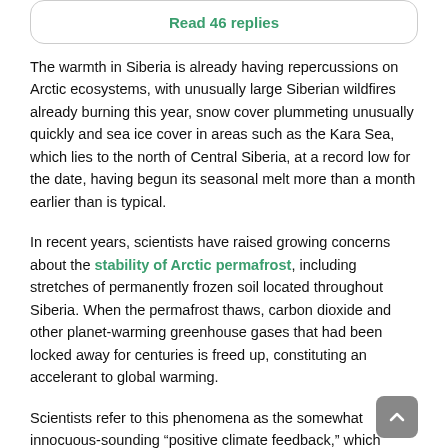Read 46 replies
The warmth in Siberia is already having repercussions on Arctic ecosystems, with unusually large Siberian wildfires already burning this year, snow cover plummeting unusually quickly and sea ice cover in areas such as the Kara Sea, which lies to the north of Central Siberia, at a record low for the date, having begun its seasonal melt more than a month earlier than is typical.
In recent years, scientists have raised growing concerns about the stability of Arctic permafrost, including stretches of permanently frozen soil located throughout Siberia. When the permafrost thaws, carbon dioxide and other planet-warming greenhouse gases that had been locked away for centuries is freed up, constituting an accelerant to global warming.
Scientists refer to this phenomena as the somewhat innocuous-sounding “positive climate feedback,” which